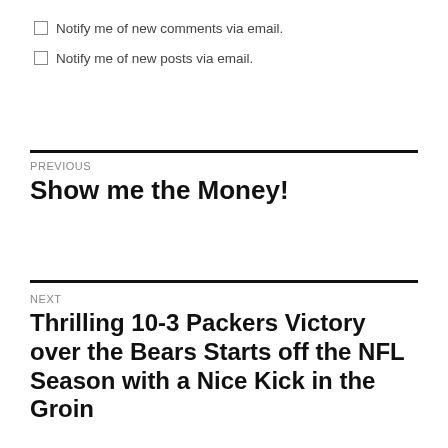Notify me of new comments via email.
Notify me of new posts via email.
PREVIOUS
Show me the Money!
NEXT
Thrilling 10-3 Packers Victory over the Bears Starts off the NFL Season with a Nice Kick in the Groin